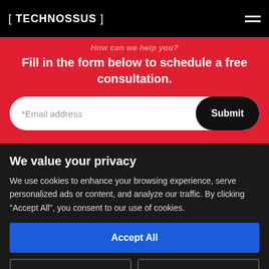[TECHNOSSUS]
How can we help you?
Fill in the form below to schedule a free consultation.
*Email address [Submit button]
We value your privacy
We use cookies to enhance your browsing experience, serve personalized ads or content, and analyze our traffic. By clicking "Accept All", you consent to our use of cookies.
Accept All
Customize
Reject All